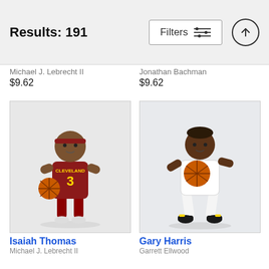Results: 191
Michael J. Lebrecht II
$9.62
Jonathan Bachman
$9.62
[Figure (photo): Isaiah Thomas wearing Cleveland Cavaliers jersey #3, holding a basketball, posing for a media day photo against a white background]
[Figure (photo): Gary Harris wearing Denver Nuggets white jersey #14, holding a basketball in a shooting stance, posing for a media day photo against a white background]
Isaiah Thomas
Michael J. Lebrecht II
Gary Harris
Garrett Ellwood